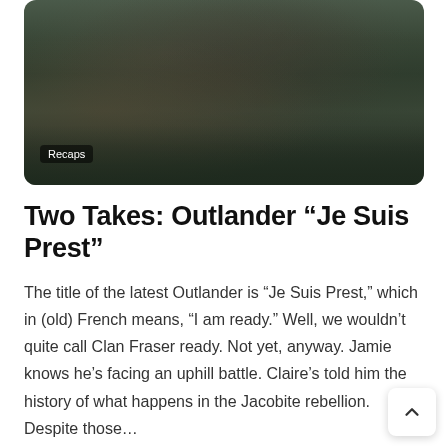[Figure (photo): Scene from Outlander TV show showing men in period Scottish Highland military dress/kilts standing in a field with a grey cloudy sky. A 'Recaps' badge label appears at the bottom left of the image.]
Two Takes: Outlander “Je Suis Prest”
The title of the latest Outlander is “Je Suis Prest,” which in (old) French means, “I am ready.” Well, we wouldn’t quite call Clan Fraser ready. Not yet, anyway. Jamie knows he’s facing an uphill battle. Claire’s told him the history of what happens in the Jacobite rebellion. Despite those…